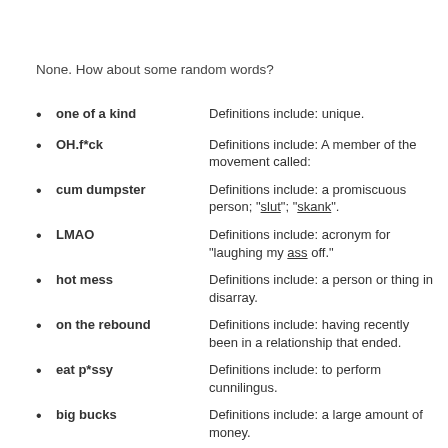None. How about some random words?
one of a kind — Definitions include: unique.
OH.f*ck — Definitions include: A member of the movement called:
cum dumpster — Definitions include: a promiscuous person; "slut"; "skank".
LMAO — Definitions include: acronym for "laughing my ass off."
hot mess — Definitions include: a person or thing in disarray.
on the rebound — Definitions include: having recently been in a relationship that ended.
eat p*ssy — Definitions include: to perform cunnilingus.
big bucks — Definitions include: a large amount of money.